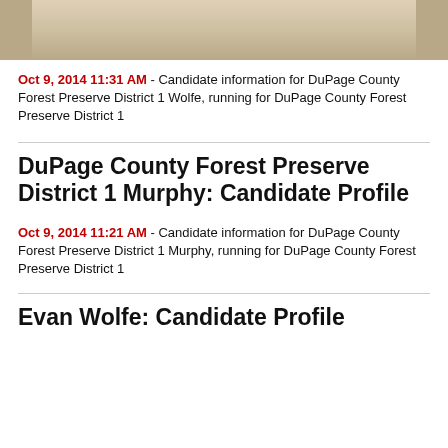[Figure (photo): Partial photo of a person, cropped at top of page]
Oct 9, 2014 11:31 AM - Candidate information for DuPage County Forest Preserve District 1 Wolfe, running for DuPage County Forest Preserve District 1
DuPage County Forest Preserve District 1 Murphy: Candidate Profile
Oct 9, 2014 11:21 AM - Candidate information for DuPage County Forest Preserve District 1 Murphy, running for DuPage County Forest Preserve District 1
Evan Wolfe: Candidate Profile